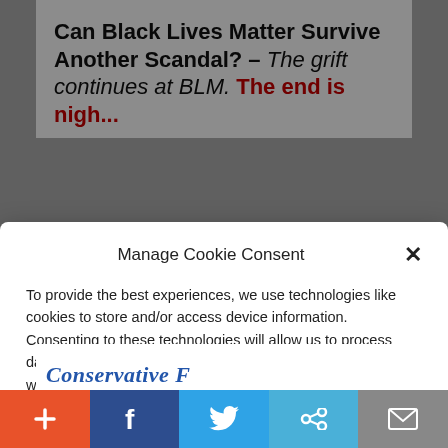Can Black Lives Matter Survive Another Scandal? – The grift continues at BLM. The end is nigh...
Manage Cookie Consent
To provide the best experiences, we use technologies like cookies to store and/or access device information. Consenting to these technologies will allow us to process data such as website statistics. Not consenting or withdrawing consent, may adversely affect certain features and functions.
Accept
Cookie Policy  Privacy Policy